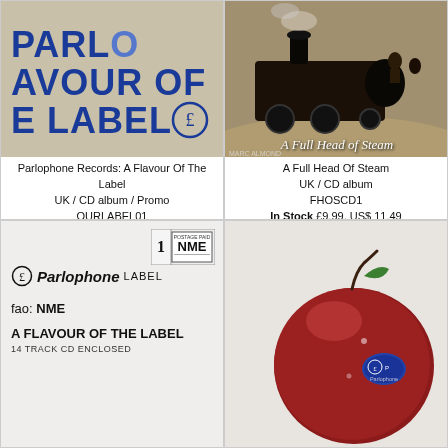[Figure (photo): Album cover for Parlophone Records: A Flavour Of The Label — beige/cardboard background with large blue text reading PARLOPHONE / FLAVOUR OF THE / LABEL and the Parlophone £ logo symbol]
Parlophone Records: A Flavour Of The Label
UK / CD album / Promo
OURLABEL01
In Stock £8.00, US$ 9.20
[Figure (photo): Album cover for A Full Head Of Steam featuring a vintage steam locomotive with people aboard, text overlay reading 'A Full Head of Steam', Marc Almond credited, Viva Villa text visible]
A Full Head Of Steam
UK / CD album
FHOSCD1
In Stock £9.99, US$ 11.49
[Figure (photo): Parlophone promo envelope/mailer addressed to NME with Parlophone Label logo and text: fao: NME, A FLAVOUR OF THE LABEL, 14 TRACK CD ENCLOSED. Postage paid NME stamp in top right.]
[Figure (photo): Close-up photo of a red apple with a blue Parlophone sticker label on it, against a light background]